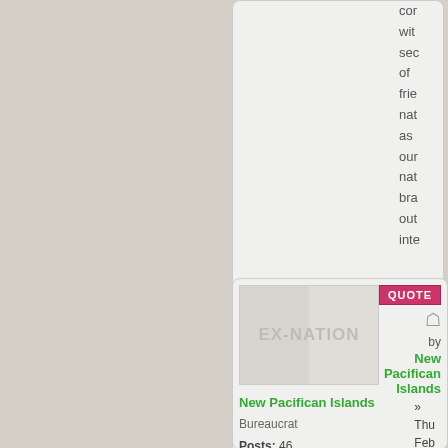cor wit sec of frie nat as our nat bra out inte
[Figure (screenshot): Archive button labeled 'Ar' and a circular arrow/profile icon]
[Figure (illustration): EX-NATION flag/banner placeholder image with diagonal stripe]
New Pacifican Islands
Bureaucrat

Posts: 46
Founded: Jan 15, 2010
Ex-Nation
QUOTE
by New Pacifican Islands
» Thu Feb 18, 2010 6:54 pm